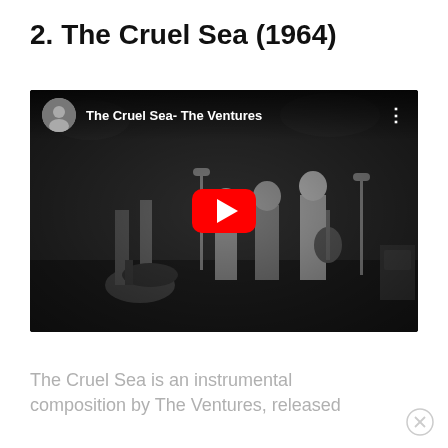2. The Cruel Sea (1964)
[Figure (screenshot): YouTube video embed showing 'The Cruel Sea- The Ventures' with a black and white concert footage thumbnail, YouTube play button overlay, channel avatar, and three-dot menu icon]
The Cruel Sea is an instrumental composition by The Ventures, released